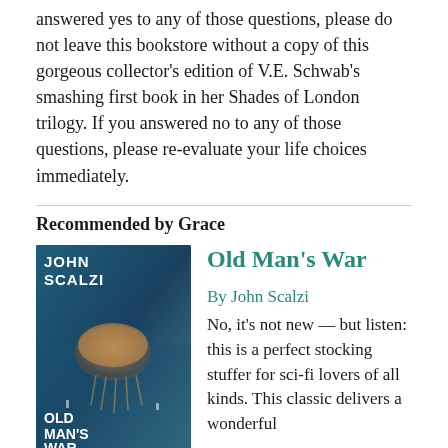answered yes to any of those questions, please do not leave this bookstore without a copy of this gorgeous collector's edition of V.E. Schwab's smashing first book in her Shades of London trilogy. If you answered no to any of those questions, please re-evaluate your life choices immediately.
Recommended by Grace
[Figure (illustration): Book cover of Old Man's War by John Scalzi, showing the author's name in bold white text, title in white, and a jellyfish-like alien creature on a blue-green background]
Old Man's War
By John Scalzi
No, it's not new — but listen: this is a perfect stocking stuffer for sci-fi lovers of all kinds. This classic delivers a wonderful combination of charm and sharp, refreshing wit.